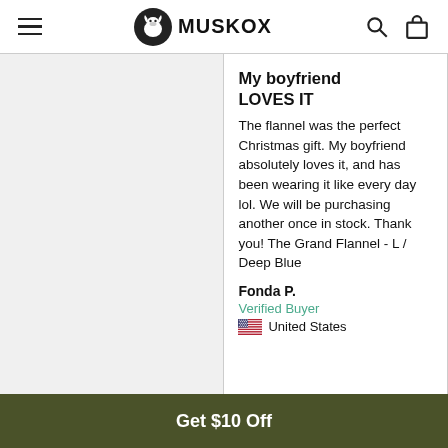MuskOx
My boyfriend LOVES IT
The flannel was the perfect Christmas gift. My boyfriend absolutely loves it, and has been wearing it like every day lol. We will be purchasing another once in stock. Thank you! The Grand Flannel - L / Deep Blue
Fonda P.
Verified Buyer
United States
Get $10 Off